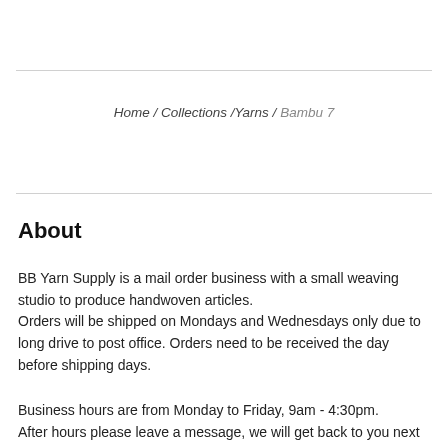Home / Collections /Yarns / Bambu 7
About
BB Yarn Supply is a mail order business with a small weaving studio to produce handwoven articles.
Orders will be shipped on Mondays and Wednesdays only due to long drive to post office. Orders need to be received the day before shipping days.
Business hours are from Monday to Friday, 9am - 4:30pm.
After hours please leave a message, we will get back to you next